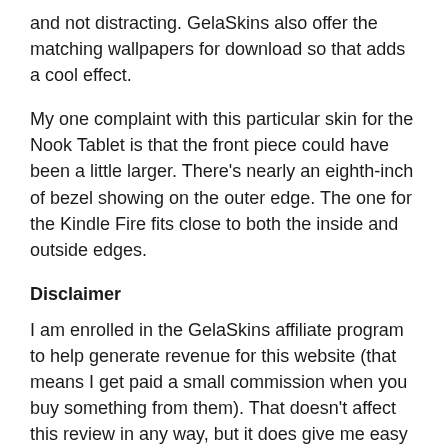and not distracting. GelaSkins also offer the matching wallpapers for download so that adds a cool effect.
My one complaint with this particular skin for the Nook Tablet is that the front piece could have been a little larger. There's nearly an eighth-inch of bezel showing on the outer edge. The one for the Kindle Fire fits close to both the inside and outside edges.
Disclaimer
I am enrolled in the GelaSkins affiliate program to help generate revenue for this website (that means I get paid a small commission when you buy something from them). That doesn't affect this review in any way, but it does give me easy access to embed some samples of their more popular designs below. I'm also in the DecalGirl affiliate program, and below you'll find a collection of their